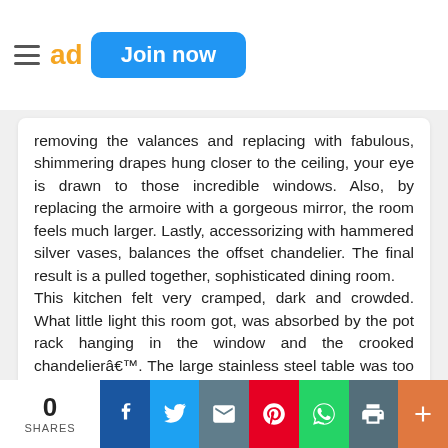ad | Join now
removing the valances and replacing with fabulous, shimmering drapes hung closer to the ceiling, your eye is drawn to those incredible windows.  Also, by replacing the armoire with a gorgeous mirror, the room feels much larger.  Lastly, accessorizing with hammered silver vases, balances the offset chandelier.  The final result is a pulled together, sophisticated dining room.
This kitchen felt very cramped, dark and crowded. What little light this room got, was absorbed by the pot rack hanging in the window and the crooked chandelierâ. The large stainless steel table was too large and underutiliâzed.  We let in the sunshine by removing the pot rack and chandelier and found a new purpose for the table as a potting bench in the backyard.
0 SHARES | Facebook | Twitter | Email | Pinterest | WhatsApp | Print | +